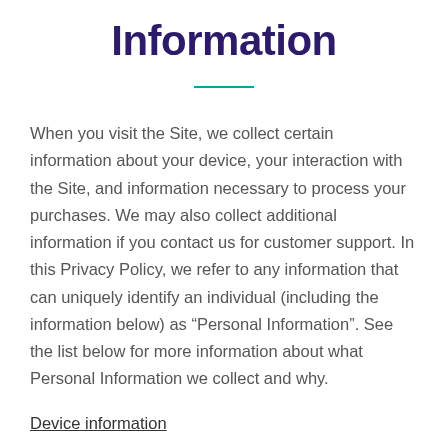Information
When you visit the Site, we collect certain information about your device, your interaction with the Site, and information necessary to process your purchases. We may also collect additional information if you contact us for customer support. In this Privacy Policy, we refer to any information that can uniquely identify an individual (including the information below) as “Personal Information”. See the list below for more information about what Personal Information we collect and why.
Device information